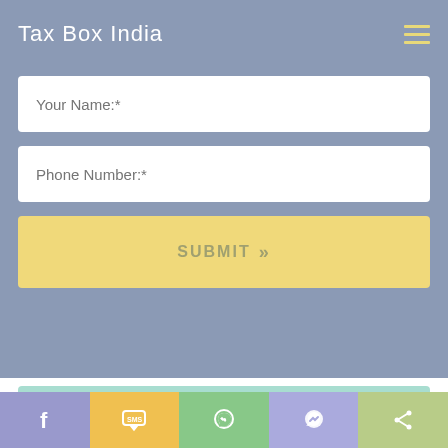Tax Box India
Your Name:*
Phone Number:*
SUBMIT »
[Figure (other): Teal colored rectangular block at bottom of form area]
[Figure (infographic): Social sharing bar with 5 buttons: Facebook, SMS, WhatsApp, Messenger, Share]